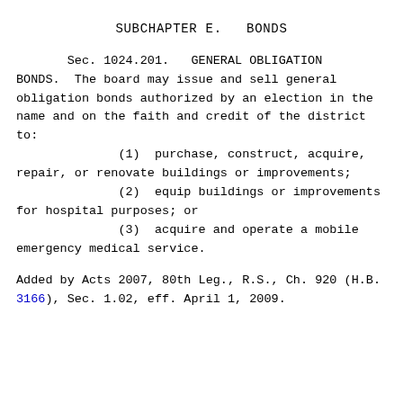SUBCHAPTER E.  BONDS
Sec. 1024.201.  GENERAL OBLIGATION BONDS.  The board may issue and sell general obligation bonds authorized by an election in the name and on the faith and credit of the district to:
(1)  purchase, construct, acquire, repair, or renovate buildings or improvements;
(2)  equip buildings or improvements for hospital purposes; or
(3)  acquire and operate a mobile emergency medical service.
Added by Acts 2007, 80th Leg., R.S., Ch. 920 (H.B. 3166), Sec. 1.02, eff. April 1, 2009.